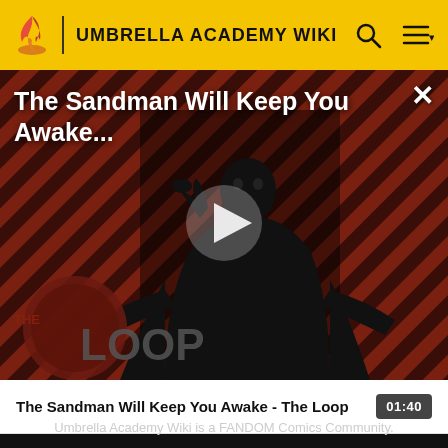UMBRELLA ACADEMY WIKI
[Figure (screenshot): Video thumbnail showing a figure in black robes against a dark red and black diagonal striped background with 'THE LOOP' logo text. Title overlay reads 'The Sandman Will Keep You Awake...' with a play button in the center and a close (X) button in the top right.]
The Sandman Will Keep You Awake - The Loop   01:40
Umbrella Academy Wiki is a FANDOM Comics Community.
VIEW FULL SITE